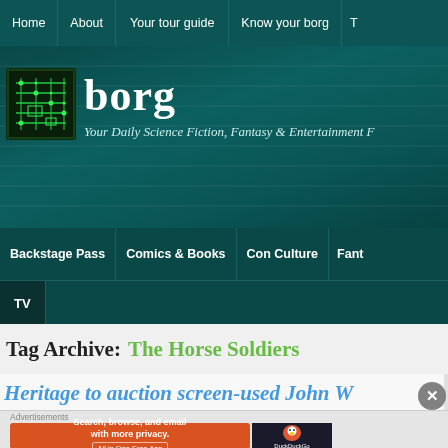Home | About | Your tour guide | Know your borg | T
[Figure (logo): Borg website logo with circuit board icon and text 'borg — Your Daily Science Fiction, Fantasy & Entertainment F']
Backstage Pass | Comics & Books | Con Culture | Fant | TV
Tag Archive: The Horse Soldiers
Heritage to auction screen-used John W
[Figure (screenshot): DuckDuckGo advertisement banner: 'Search, browse, and email with more privacy. All in One Free App' with DuckDuckGo duck logo]